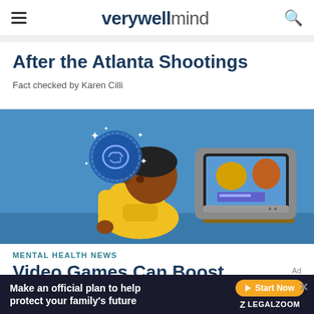verywell mind
After the Atlanta Shootings
Fact checked by Karen Cilli
[Figure (illustration): Illustration of a child in a yellow hoodie sitting and playing a video game on a CRT TV/monitor setup, with a glowing brain badge icon floating above, on a blue background.]
MENTAL HEALTH NEWS
Video Games Can Boost Children's
Make an official plan to help protect your family's future
Start Now  LEGALZOOM